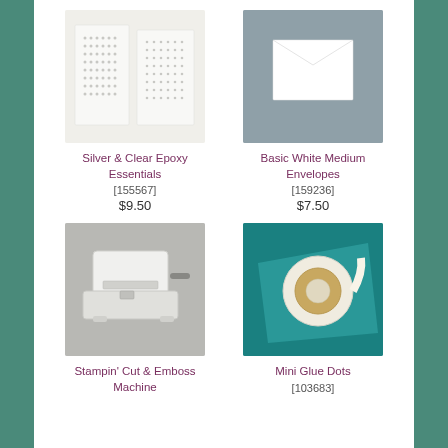[Figure (photo): Silver & Clear Epoxy Essentials product — two sheets of clear/silver epoxy dot stickers on white/cream background]
Silver & Clear Epoxy Essentials
[155567]
$9.50
[Figure (photo): Basic White Medium Envelopes product — white envelope on grey background]
Basic White Medium Envelopes
[159236]
$7.50
[Figure (photo): Stampin' Cut & Emboss Machine product — white die-cutting machine on grey background]
Stampin' Cut & Emboss Machine
[Figure (photo): Mini Glue Dots product — roll of glue dots tape on teal background]
Mini Glue Dots
[103683]